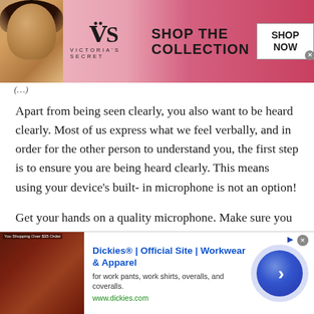[Figure (screenshot): Victoria's Secret advertisement banner with model, VS logo, 'SHOP THE COLLECTION' text and 'SHOP NOW' button on pink background]
Apart from being seen clearly, you also want to be heard clearly. Most of us express what we feel verbally, and in order for the other person to understand you, the first step is to ensure you are being heard clearly. This means using your device's built- in microphone is not an option!
Get your hands on a quality microphone. Make sure you research about the types of microphones that you can use. There is a variety of mics out there including handheld mics, wireless mics, lavalier mics, and much more, each
[Figure (screenshot): Dickies advertisement banner with product image, title 'Dickies® | Official Site | Workwear & Apparel', subtitle 'for work pants, work shirts, overalls, and coveralls.', URL 'www.dickies.com', and blue arrow button]